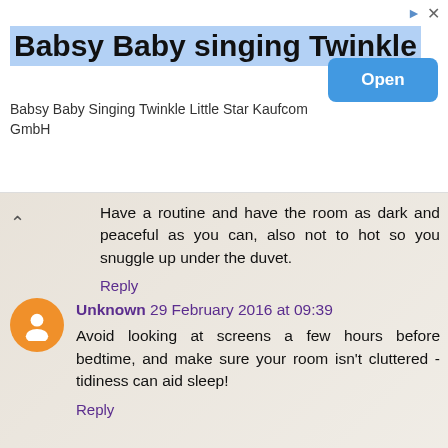[Figure (screenshot): Advertisement banner for 'Babsy Baby singing Twinkle' app by Kaufcom GmbH with blue highlighted title, an Open button, and navigation icons]
Have a routine and have the room as dark and peaceful as you can, also not to hot so you snuggle up under the duvet.
Reply
Unknown 29 February 2016 at 09:39
Avoid looking at screens a few hours before bedtime, and make sure your room isn't cluttered - tidiness can aid sleep!
Reply
Kim M 29 February 2016 at 09:51
Chamomile tea and a hot water bottle x
Reply